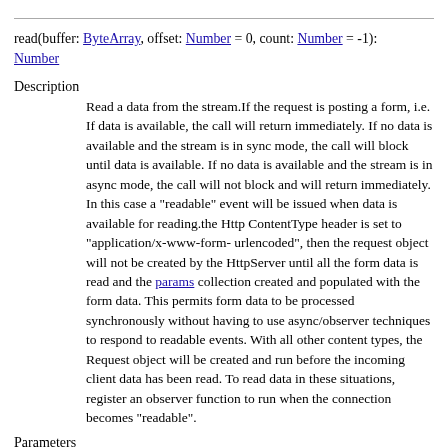read(buffer: ByteArray, offset: Number = 0, count: Number = -1): Number
Description
Read a data from the stream.If the request is posting a form, i.e. If data is available, the call will return immediately. If no data is available and the stream is in sync mode, the call will block until data is available. If no data is available and the stream is in async mode, the call will not block and will return immediately. In this case a "readable" event will be issued when data is available for reading.the Http ContentType header is set to "application/x-www-form-urlencoded", then the request object will not be created by the HttpServer until all the form data is read and the params collection created and populated with the form data. This permits form data to be processed synchronously without having to use async/observer techniques to respond to readable events. With all other content types, the Request object will be created and run before the incoming client data has been read. To read data in these situations, register an observer function to run when the connection becomes "readable".
Parameters